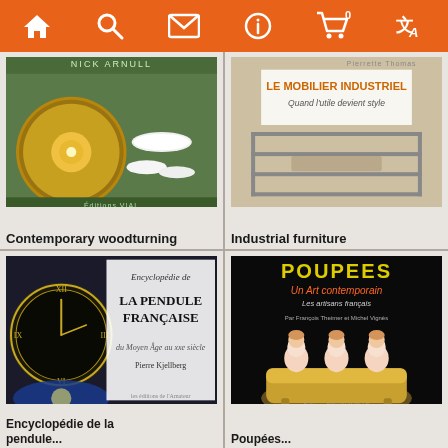Navigation bar with home, search, mail, info, cart (0), translate icons
[Figure (photo): Book cover: Contemporary woodturning by Nick Arnull, showing wooden turned objects including a sunburst disc and white ceramic forms, Editions Vial]
Contemporary woodturning
[Figure (photo): Book cover: Le Mobilier Industriel - Quand l'utile devient style, showing industrial metal furniture/shelving]
Industrial furniture
[Figure (photo): Book cover: Encyclopédie de la Pendule Française du Moyen Âge au XXe siècle by Pierre Kjellberg, showing ornate French clocks]
Encyclopédie de la pendule...
[Figure (photo): Book cover: POUPEES Un Art contemporain Les artisans français, black cover with three dolls sitting on a sofa, Editions Polichinelle]
Poupées...